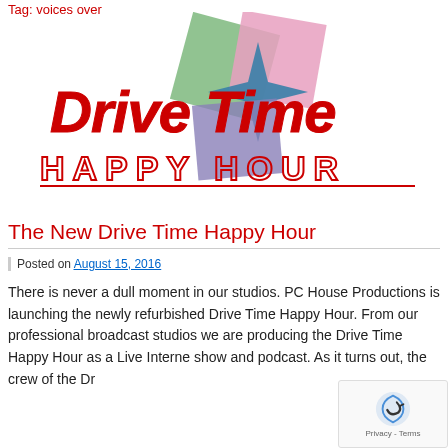Tag: voices over
[Figure (logo): Drive Time Happy Hour logo with colorful overlapping diamond shapes (green, pink, teal, purple) and red cursive 'Drive Time' text above red outlined block letters 'HAPPY HOUR']
The New Drive Time Happy Hour
Posted on August 15, 2016
There is never a dull moment in our studios. PC House Productions is launching the newly refurbished Drive Time Happy Hour. From our professional broadcast studios we are producing the Drive Time Happy Hour as a Live Interne show and podcast. As it turns out, the crew of the Dr